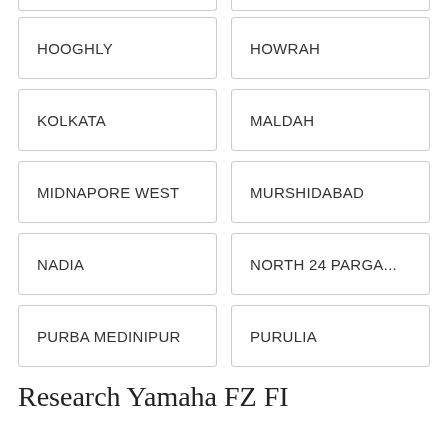HOOGHLY
HOWRAH
KOLKATA
MALDAH
MIDNAPORE WEST
MURSHIDABAD
NADIA
NORTH 24 PARGA...
PURBA MEDINIPUR
PURULIA
Research Yamaha FZ FI